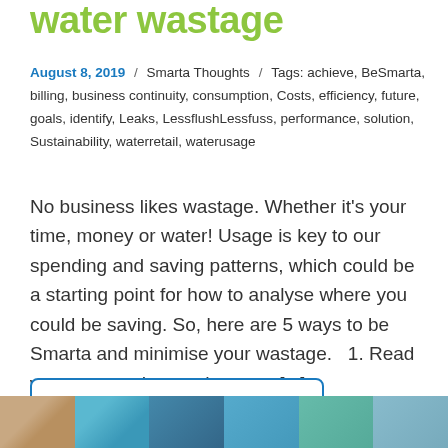water wastage
August 8, 2019 / Smarta Thoughts / Tags: achieve, BeSmarta, billing, business continuity, consumption, Costs, efficiency, future, goals, identify, Leaks, LessflushLessfuss, performance, solution, Sustainability, waterretail, waterusage
No business likes wastage. Whether it's your time, money or water! Usage is key to our spending and saving patterns, which could be a starting point for how to analyse where you could be saving. So, here are 5 ways to be Smarta and minimise your wastage.   1. Read water meter data and reports [...]
Read more
[Figure (photo): Bottom strip image showing water-related photography in multiple segments]